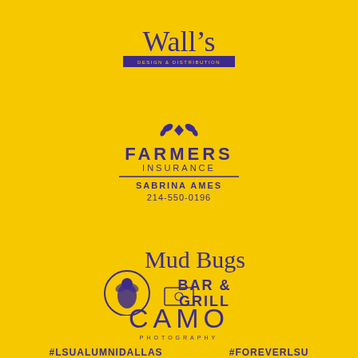[Figure (logo): Wall's Design & Distribution logo in purple script with purple banner on yellow background]
[Figure (logo): Farmers Insurance logo in purple with sunburst icon, agent name Sabrina Ames and phone 214-550-0196]
[Figure (logo): Mud Bugs Bar & Grill logo in purple script with bug illustration in circle]
[Figure (logo): CAMO Photography logo in purple thin font with camera bracket icon]
#LSUALUMNIDALLAS   #FOREVERLSU